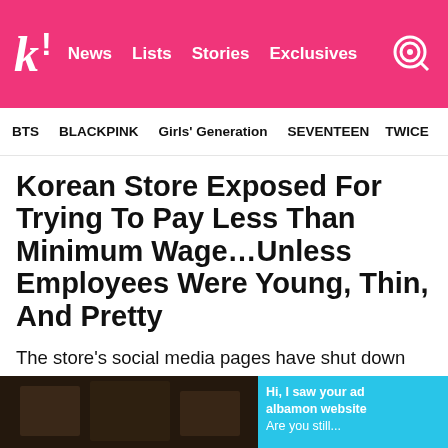k! News Lists Stories Exclusives
BTS BLACKPINK Girls' Generation SEVENTEEN TWICE
Korean Store Exposed For Trying To Pay Less Than Minimum Wage…Unless Employees Were Young, Thin, And Pretty
The store's social media pages have shut down since the controversy went viral.
[Figure (photo): Dark interior photo of a store at bottom left]
[Figure (screenshot): Blue chat bubble screenshot at bottom right showing partial text: Hi, I saw your ad albamon website Are you still...]